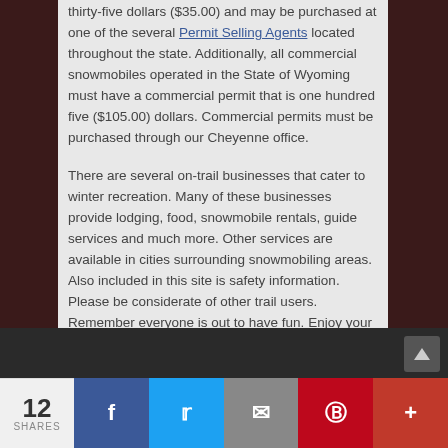thirty-five dollars ($35.00) and may be purchased at one of the several Permit Selling Agents located throughout the state. Additionally, all commercial snowmobiles operated in the State of Wyoming must have a commercial permit that is one hundred five ($105.00) dollars. Commercial permits must be purchased through our Cheyenne office.
There are several on-trail businesses that cater to winter recreation. Many of these businesses provide lodging, food, snowmobile rentals, guide services and much more. Other services are available in cities surrounding snowmobiling areas. Also included in this site is safety information. Please be considerate of other trail users. Remember everyone is out to have fun. Enjoy your experience in Wyoming. Please check out the Road Reports prior to your departure.